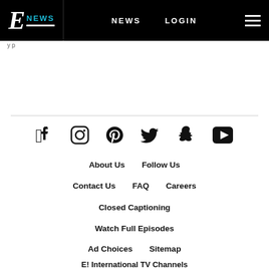E! NEWS | NEWS | LOGIN
breadcrumb / partial text
[Figure (other): Social media icons: Facebook, Instagram, Pinterest, Twitter, Snapchat, YouTube]
About Us
Follow Us
Contact Us
FAQ
Careers
Closed Captioning
Watch Full Episodes
Ad Choices
Sitemap
E! International TV Channels